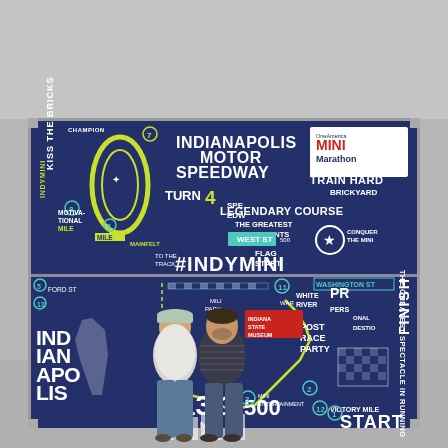[Figure (photo): Two people (a woman in a white t-shirt and cap, and a man in a striped shirt) standing in front of a large navy blue promotional display board for the Indianapolis Motor Speedway OneAmerica Mini Marathon (#INDYMINI). The board features text including 'INDIANAPOLIS MOTOR SPEEDWAY', 'TURN 4', 'KISS THE BRICKS', 'LEGENDARY COURSE', '#INDYMINI', '13.1 MILES', '500', 'START', 'FINISH', 'VICTORY MILE', 'WASHINGTON ST', 'INDIANA STATE MUSEUM', 'WEST ST', 'OneAmerica MINI Marathon', 'TRAIN HARD', 'BRICKYARD', 'THE GREATEST SPECTACLE IN RUNNING', 'POST RACE PARTY', 'INDIANAPOLIS' and various course map elements. The photo is taken indoors with a gray ceiling visible above the display.]